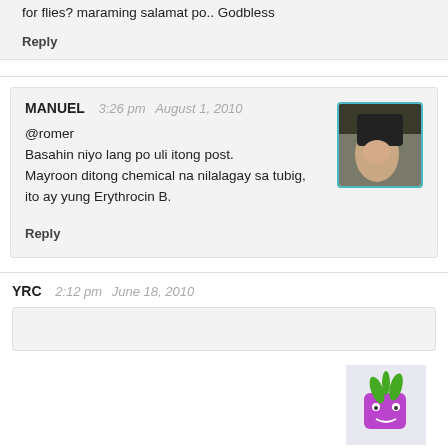for flies? maraming salamat po.. Godbless
Reply
MANUEL   3:26 pm   August 1, 2010
@romer
Basahin niyo lang po uli itong post.
Mayroon ditong chemical na nilalagay sa tubig, ito ay yung Erythrocin B.
Reply
YRC   2:12 pm   June 18, 2010